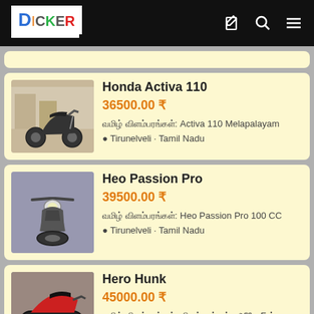DICKER — navigation bar with logo and icons
Honda Activa 110 | 36500.00 ₹ | Tamil விளம்பரங்கள்: Activa 110 Melapalayam | Tirunelveli · Tamil Nadu
Heo Passion Pro | 39500.00 ₹ | Tamil விளம்பரங்கள்: Heo Passion Pro 100 CC | Tirunelveli · Tamil Nadu
Hero Hunk | 45000.00 ₹ | Tamil விளம்பரங்கள்: விளம்பரங்கள் : ஹீரோFன்,